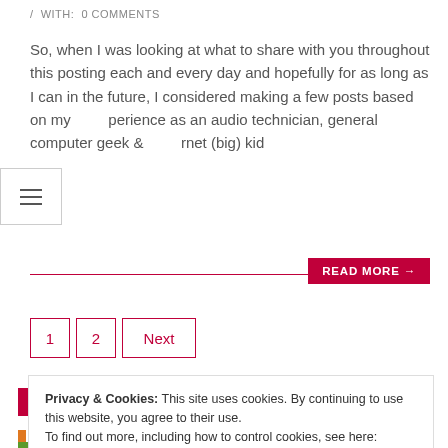/ WITH: 0 COMMENTS
So, when I was looking at what to share with you throughout this posting each and every day and hopefully for as long as I can in the future, I considered making a few posts based on my experience as an audio technician, general computer geek & internet (big) kid
READ MORE →
1
2
Next
GET THESE POSTS IN YOUR FEED READER
Privacy & Cookies: This site uses cookies. By continuing to use this website, you agree to their use.
To find out more, including how to control cookies, see here: Cookie Policy
Close and accept